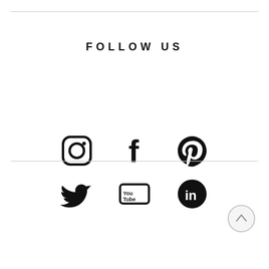FOLLOW US
[Figure (illustration): Six social media icons in two rows: Instagram, Facebook, Pinterest (top row); Twitter, YouTube, LinkedIn (bottom row)]
[Figure (illustration): Scroll-to-top button: circle with upward chevron arrow]